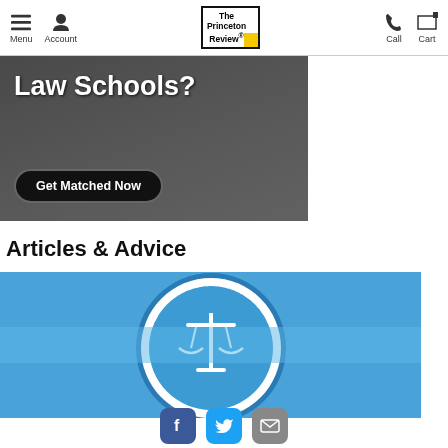Menu | Account | The Princeton Review | Call | Cart
[Figure (screenshot): Banner ad with dark overlay photo of someone writing, text 'Law Schools?' and a black rounded button 'Get Matched Now']
Articles & Advice
[Figure (logo): The Princeton Review circular badge/seal logo in blue and white, featuring scales of justice icon, on blue background]
[Figure (illustration): Social media sharing icons: Facebook (blue), Twitter (teal), Email/envelope (gray)]